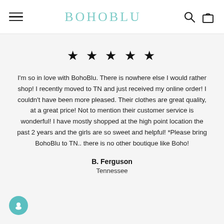BOHOBLU
★ ★ ★ ★ ★
I'm so in love with BohoBlu. There is nowhere else I would rather shop! I recently moved to TN and just received my online order! I couldn't have been more pleased. Their clothes are great quality, at a great price! Not to mention their customer service is wonderful! I have mostly shopped at the high point location the past 2 years and the girls are so sweet and helpful! *Please bring BohoBlu to TN.. there is no other boutique like Boho!
B. Ferguson
Tennessee